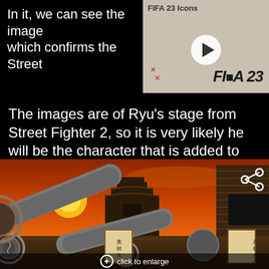In it, we can see the image which confirms the Street
[Figure (screenshot): FIFA 23 Icons video thumbnail showing FIFA 23 logo with a play button overlay]
The images are of Ryu's stage from Street Fighter 2, so it is very likely he will be the character that is added to the game.
[Figure (screenshot): Street Fighter 2 Ryu's stage - a Japanese castle scene with orange/red sunset sky, traditional architecture, and decorative cannons with Japanese text banners]
click to enlarge